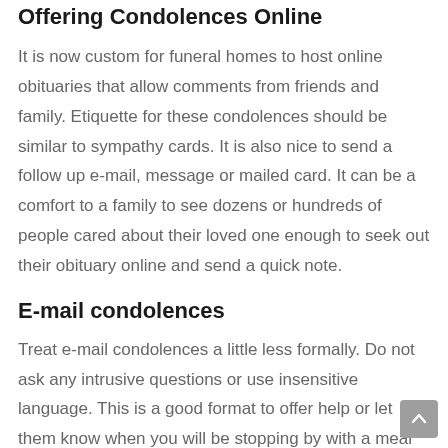Offering Condolences Online
It is now custom for funeral homes to host online obituaries that allow comments from friends and family. Etiquette for these condolences should be similar to sympathy cards. It is also nice to send a follow up e-mail, message or mailed card. It can be a comfort to a family to see dozens or hundreds of people cared about their loved one enough to seek out their obituary online and send a quick note.
E-mail condolences
Treat e-mail condolences a little less formally. Do not ask any intrusive questions or use insensitive language. This is a good format to offer help or let them know when you will be stopping by with a meal or to sit with them. An e-mail allows you to ask how others in the family are holding up and if